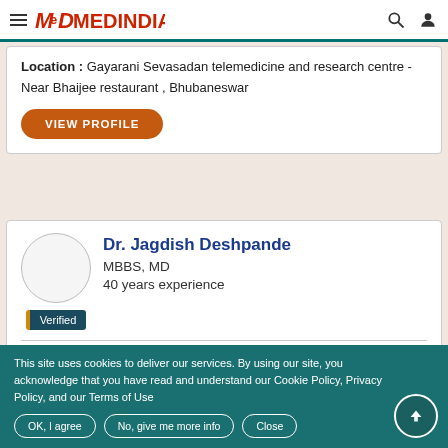MedIndia
Location : Gayarani Sevasadan telemedicine and research centre - Near Bhaijee restaurant , Bhubaneswar
VIEW PROFILE
Dr. Jagdish Deshpande
MBBS, MD
40 years experience
Verified
Speciality : General Medicine / Internal
This site uses cookies to deliver our services. By using our site, you acknowledge that you have read and understand our Cookie Policy, Privacy Policy, and our Terms of Use
OK, I agree | No, give me more info | Close